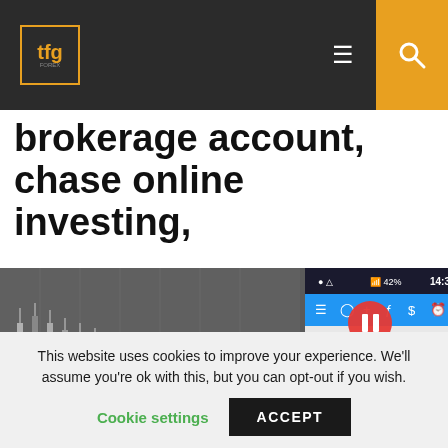tfg
brokerage account, chase online investing,
[Figure (screenshot): Screenshot of a trading platform showing USDJPY M15 candlestick chart with values 105.217 105.344 105.210 105.340, with recording/pause overlay buttons, time 14:30, price levels around 105.150]
This website uses cookies to improve your experience. We'll assume you're ok with this, but you can opt-out if you wish.
Cookie settings  ACCEPT